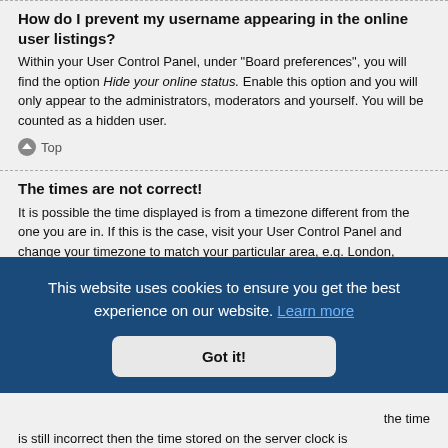How do I prevent my username appearing in the online user listings?
Within your User Control Panel, under "Board preferences", you will find the option Hide your online status. Enable this option and you will only appear to the administrators, moderators and yourself. You will be counted as a hidden user.
Top
The times are not correct!
It is possible the time displayed is from a timezone different from the one you are in. If this is the case, visit your User Control Panel and change your timezone to match your particular area, e.g. London, Paris, New York, Sydney, etc. Please note that [partially obscured] one by [partially obscured] time to
[Figure (screenshot): Cookie consent banner overlay: dark blue background with text 'This website uses cookies to ensure you get the best experience on our website. Learn more' and a 'Got it!' button.]
the time is still incorrect then the time stored on the server clock is